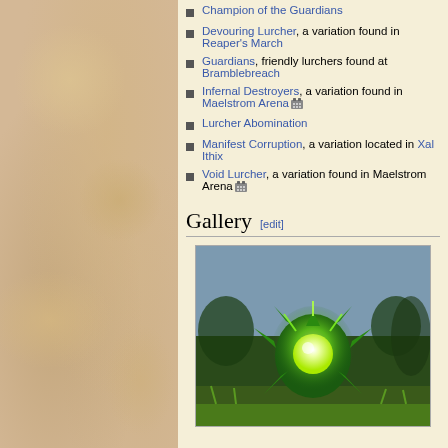Champion of the Guardians
Devouring Lurcher, a variation found in Reaper's March
Guardians, friendly lurchers found at Bramblebreach
Infernal Destroyers, a variation found in Maelstrom Arena [icon]
Lurcher Abomination
Manifest Corruption, a variation located in Xal Ithix
Void Lurcher, a variation found in Maelstrom Arena [icon]
Gallery [edit]
[Figure (photo): Screenshot of a glowing green creature with spiky tendrils and a bright orb center, set against a twilight outdoor background in a game environment.]